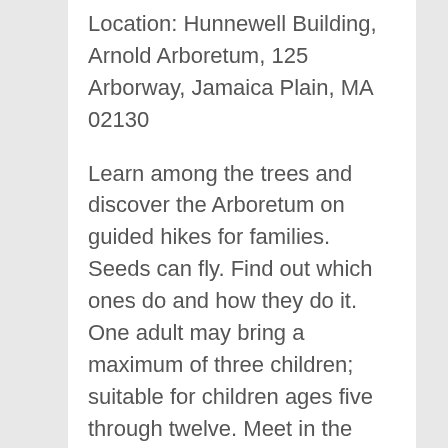Location: Hunnewell Building, Arnold Arboretum, 125 Arborway, Jamaica Plain, MA 02130
Learn among the trees and discover the Arboretum on guided hikes for families. Seeds can fly. Find out which ones do and how they do it. One adult may bring a maximum of three children; suitable for children ages five through twelve. Meet in the Hunnewell Visitor Center.
Free, drop in, no registration required.